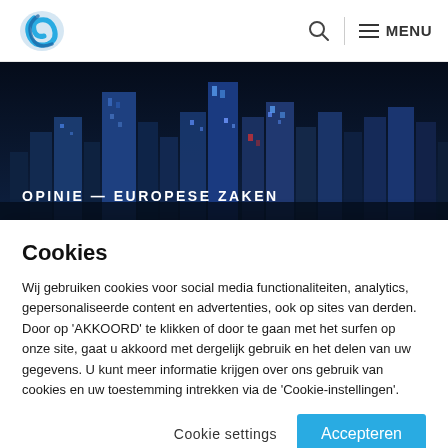Logo | Search | MENU
[Figure (photo): Night cityscape with illuminated skyscrapers against a dark blue sky]
OPINIE — EUROPESE ZAKEN
Cookies
Wij gebruiken cookies voor social media functionaliteiten, analytics, gepersonaliseerde content en advertenties, ook op sites van derden. Door op 'AKKOORD' te klikken of door te gaan met het surfen op onze site, gaat u akkoord met dergelijk gebruik en het delen van uw gegevens. U kunt meer informatie krijgen over ons gebruik van cookies en uw toestemming intrekken via de 'Cookie-instellingen'.
Cookie settings | Accepteren